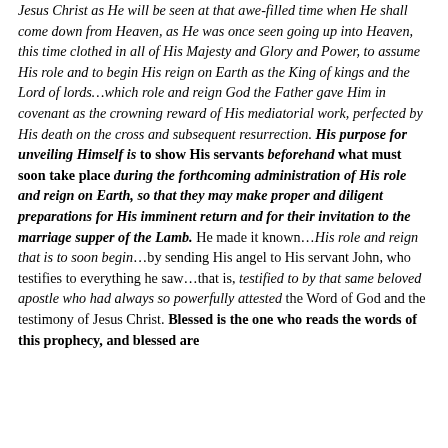Jesus Christ as He will be seen at that awe-filled time when He shall come down from Heaven, as He was once seen going up into Heaven, this time clothed in all of His Majesty and Glory and Power, to assume His role and to begin His reign on Earth as the King of kings and the Lord of lords…which role and reign God the Father gave Him in covenant as the crowning reward of His mediatorial work, perfected by His death on the cross and subsequent resurrection. His purpose for unveiling Himself is to show His servants beforehand what must soon take place during the forthcoming administration of His role and reign on Earth, so that they may make proper and diligent preparations for His imminent return and for their invitation to the marriage supper of the Lamb. He made it known…His role and reign that is to soon begin…by sending His angel to His servant John, who testifies to everything he saw…that is, testified to by that same beloved apostle who had always so powerfully attested the Word of God and the testimony of Jesus Christ. Blessed is the one who reads the words of this prophecy, and blessed are